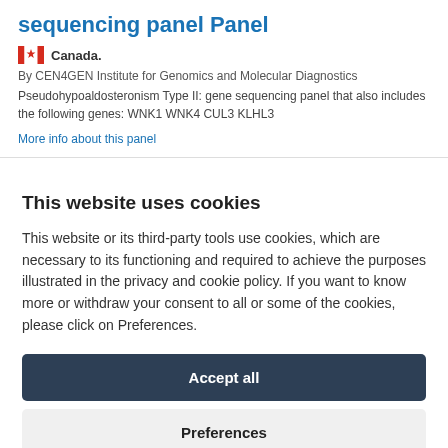sequencing panel Panel
Canada.
By CEN4GEN Institute for Genomics and Molecular Diagnostics
Pseudohypoaldosteronism Type II: gene sequencing panel that also includes the following genes: WNK1 WNK4 CUL3 KLHL3
More info about this panel
This website uses cookies
This website or its third-party tools use cookies, which are necessary to its functioning and required to achieve the purposes illustrated in the privacy and cookie policy. If you want to know more or withdraw your consent to all or some of the cookies, please click on Preferences.
Accept all
Preferences